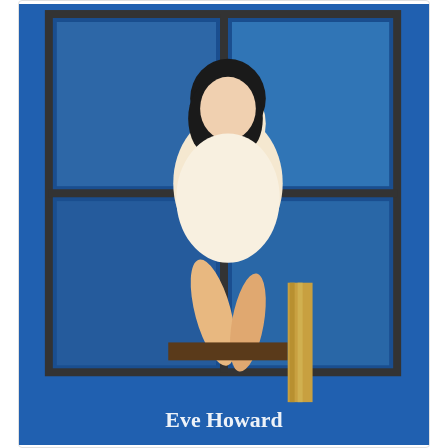[Figure (illustration): Book cover for Shadow Lane Volume 5 by Eve Howard. Shows a woman in a white dress sitting, with a blue window background. Author name 'Eve Howard' overlaid at bottom.]
Shadow Lane, Volume 5, The Spanking Persuasion
CCB Publishing
$ 16.95
[Figure (illustration): Book cover for Shadow Lane Volume 6. Shows stylized text 'Shadow Lane Volume 6' in gold on a teal/green forest background with a figure.]